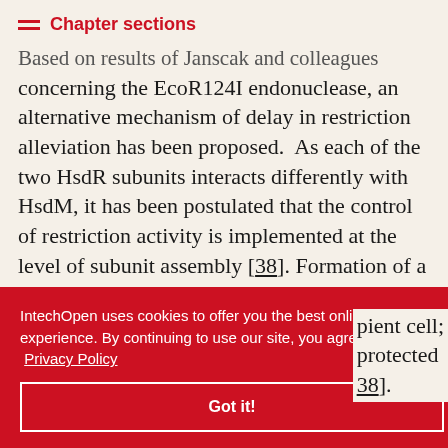Chapter sections
Based on results of Janscak and colleagues concerning the EcoR124I endonuclease, an alternative mechanism of delay in restriction alleviation has been proposed. As each of the two HsdR subunits interacts differently with HsdM, it has been postulated that the control of restriction activity is implemented at the level of subunit assembly [38]. Formation of a weak R₂M₂S₁ restriction complex will be suspended, unless accumulation of HsdR molecules occurs. Excess of HsdR over HsdM is observed in the late stage of phage infection in the recipient cell; therefore, phage DNA is protected [38].
IntechOpen uses cookies to offer you the best online experience. By continuing to use our site, you agree to our Privacy Policy
Got it!